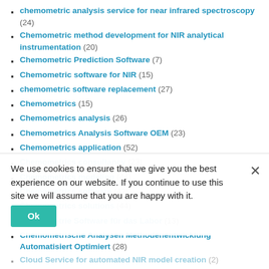chemometric analysis service for near infrared spectroscopy (24)
Chemometric method development for NIR analytical instrumentation (20)
Chemometric Prediction Software (7)
Chemometric software for NIR (15)
chemometric software replacement (27)
Chemometrics (15)
Chemometrics analysis (26)
Chemometrics Analysis Software OEM (23)
Chemometrics application (52)
Chemometrics consultancy (23)
Chemometrics modeling (44)
Chemometrics software (42)
Chemometrics solutions (44)
Chemometrie Software für das Labor (13)
Chemometrische Analysen Methodenentwicklung Automatisiert Optimiert (28)
Cloud Service for automated NIR model creation (2)
Cloud-based NIR calibration (14)
Create Food Sensor Applications (25)
create predictive NIR models (7)
creating Results of NIR spectra analysis (27)
customized NIR calibrations (17)
Customized NIR Model Solutions (12)
We use cookies to ensure that we give you the best experience on our website. If you continue to use this site we will assume that you are happy with it.